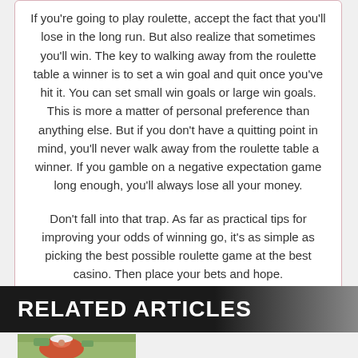If you're going to play roulette, accept the fact that you'll lose in the long run. But also realize that sometimes you'll win. The key to walking away from the roulette table a winner is to set a win goal and quit once you've hit it. You can set small win goals or large win goals. This is more a matter of personal preference than anything else. But if you don't have a quitting point in mind, you'll never walk away from the roulette table a winner. If you gamble on a negative expectation game long enough, you'll always lose all your money.
Don't fall into that trap. As far as practical tips for improving your odds of winning go, it's as simple as picking the best possible roulette game at the best casino. Then place your bets and hope.
RELATED ARTICLES
[Figure (photo): Thumbnail photo of a person wearing a white cap and pink shirt, outdoors]